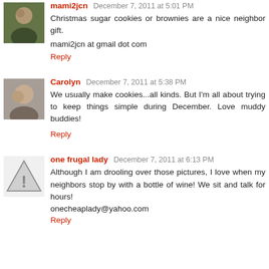mami2jcn December 7, 2011 at 5:01 PM
Christmas sugar cookies or brownies are a nice neighbor gift.
mami2jcn at gmail dot com
Reply
Carolyn December 7, 2011 at 5:38 PM
We usually make cookies...all kinds. But I'm all about trying to keep things simple during December. Love muddy buddies!
Reply
one frugal lady December 7, 2011 at 6:13 PM
Although I am drooling over those pictures, I love when my neighbors stop by with a bottle of wine! We sit and talk for hours!
onecheaplady@yahoo.com
Reply